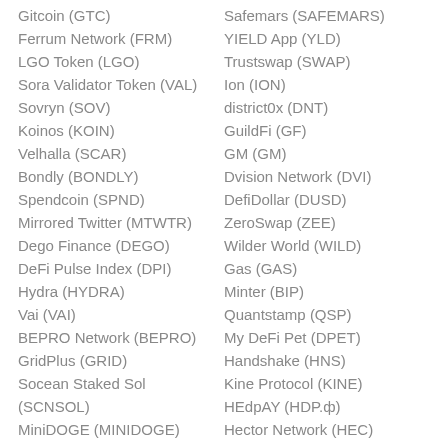Gitcoin (GTC)
Safemars (SAFEMARS)
Ferrum Network (FRM)
YIELD App (YLD)
LGO Token (LGO)
Trustswap (SWAP)
Sora Validator Token (VAL)
Ion (ION)
Sovryn (SOV)
district0x (DNT)
Koinos (KOIN)
GuildFi (GF)
Velhalla (SCAR)
GM (GM)
Bondly (BONDLY)
Dvision Network (DVI)
Spendcoin (SPND)
DefiDollar (DUSD)
Mirrored Twitter (MTWTR)
ZeroSwap (ZEE)
Dego Finance (DEGO)
Wilder World (WILD)
DeFi Pulse Index (DPI)
Gas (GAS)
Hydra (HYDRA)
Minter (BIP)
Vai (VAI)
Quantstamp (QSP)
BEPRO Network (BEPRO)
My DeFi Pet (DPET)
GridPlus (GRID)
Handshake (HNS)
Socean Staked Sol (SCNSOL)
Kine Protocol (KINE)
HEdpAY (HDP.ф)
MiniDOGE (MINIDOGE)
Hector Network (HEC)